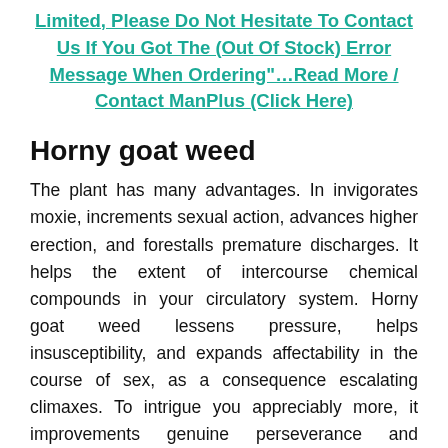Limited, Please Do Not Hesitate To Contact Us If You Got The (Out Of Stock) Error Message When Ordering"...Read More / Contact ManPlus (Click Here)
Horny goat weed
The plant has many advantages. In invigorates moxie, increments sexual action, advances higher erection, and forestalls premature discharges. It helps the extent of intercourse chemical compounds in your circulatory system. Horny goat weed lessens pressure, helps insusceptibility, and expands affectability in the course of sex, as a consequence escalating climaxes. To intrigue you appreciably more, it improvements genuine perseverance and exercising middle execution, and from all accounts that is fitting...